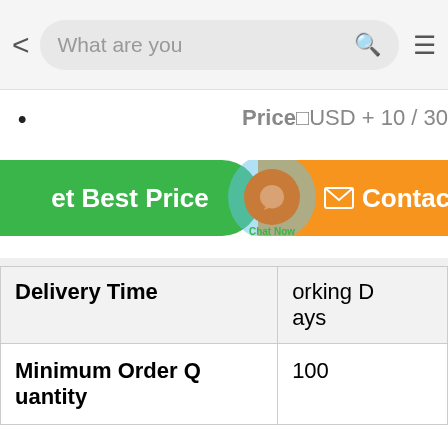[Figure (screenshot): Mobile app navigation bar with back arrow, search box showing 'What are you', search icon, and hamburger menu]
Price□USD + 10 / 30
[Figure (screenshot): Green 'Get Best Price' button and orange 'Contact' button with envelope icon, overlaid with 'Chat Now' circular bubble]
| Delivery Time | orking Days |
| Minimum Order Quantity | 100 |